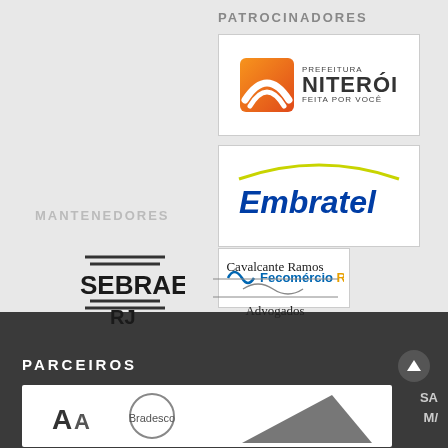PATROCINADORES
[Figure (logo): Prefeitura Niterói - Feita por Você logo with orange arc graphic]
MANTENEDORES
[Figure (logo): Embratel logo in blue italic text with yellow-green arc]
[Figure (logo): Fecomércio RJ logo]
[Figure (logo): SEBRAE RJ logo]
[Figure (logo): Cavalcante Ramos Advogados logo]
PARCEIROS
[Figure (logo): Partial logos visible at bottom of page including stylized A letters and diagonal arrow shape]